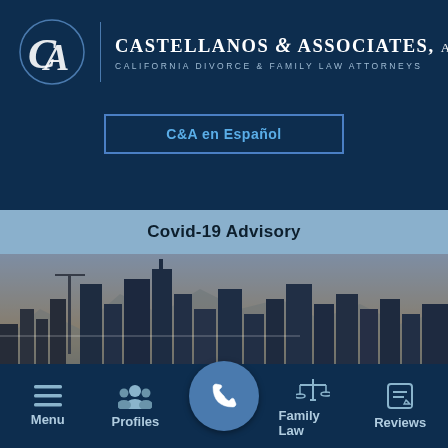[Figure (logo): Castellanos & Associates APLC logo with CA monogram, vertical divider, firm name and tagline on dark navy background]
C&A en Español
Covid-19 Advisory
[Figure (photo): Los Angeles city skyline at dusk with skyscrapers and mountains in background]
Menu | Profiles | [Phone] | Family Law | Reviews